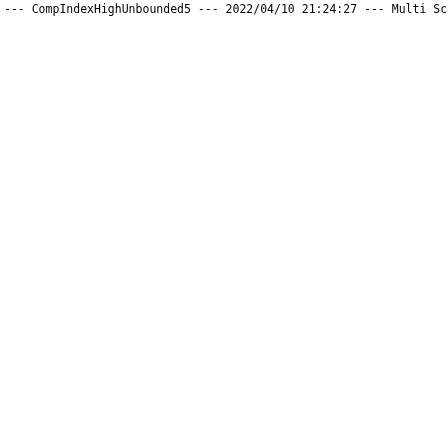--- CompIndexHighUnbounded5 ---
2022/04/10 21:24:27
--- Multi Scan 0 ---
2022/04/10 21:24:27 distinct = false
2022/04/10 21:24:28 Using n1ql client
2022/04/10 21:24:28 Using n1ql client
2022/04/10 21:24:28 len(scanResults) = 8210 MultiScanCoun
2022/04/10 21:24:28 Expected and Actual scan responses ar
2022/04/10 21:24:28
--- SeekBoundaries ---
2022/04/10 21:24:28
--- Multi Scan 0 ---
2022/04/10 21:24:28 distinct = false
2022/04/10 21:24:28 Using n1ql client
2022/04/10 21:24:28 Using n1ql client
2022/04/10 21:24:28 len(scanResults) = 175 MultiScanCount
2022/04/10 21:24:28 Expected and Actual scan responses ar
2022/04/10 21:24:28
--- Multi Scan 1 ---
2022/04/10 21:24:28 distinct = false
2022/04/10 21:24:28 Using n1ql client
2022/04/10 21:24:28 Using n1ql client
2022/04/10 21:24:28 len(scanResults) = 1 MultiScanCount =
2022/04/10 21:24:28 Expected and Actual scan responses ar
2022/04/10 21:24:28
--- Multi Scan 2 ---
2022/04/10 21:24:28 distinct = false
2022/04/10 21:24:29 Using n1ql client
2022/04/10 21:24:29 Using n1ql client
2022/04/10 21:24:29 len(scanResults) = 555 MultiScanCount